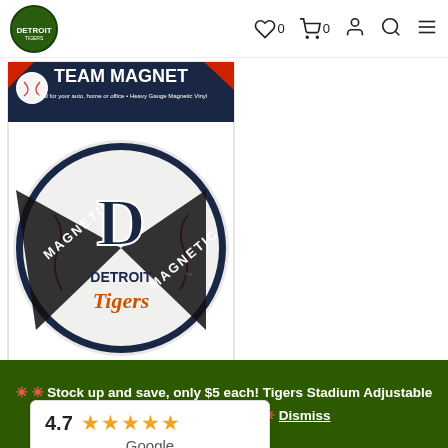Detroit Tigers store navigation bar with logo, wishlist (0), cart (0), account, search, and menu icons
[Figure (photo): Detroit Tigers 8in Round Team Magnet product photo in packaging. The package has 'TEAM MAGNET' header and shows a circular magnet featuring the Detroit Tigers 'D' logo on a baseball background with 'Detroit Tigers' script text and diagonal 'MAGNETIC' banners.]
Detroit Tigers 8in Round Magnet
[Figure (infographic): Google rating widget showing 4.7 stars (5 orange stars) and 'Google' text]
ADD TO CART
🌟 🌟 Stock up and save, only $5 each! Tigers Stadium Adjustable Cap Purchase here. 🌟 🌟 Dismiss